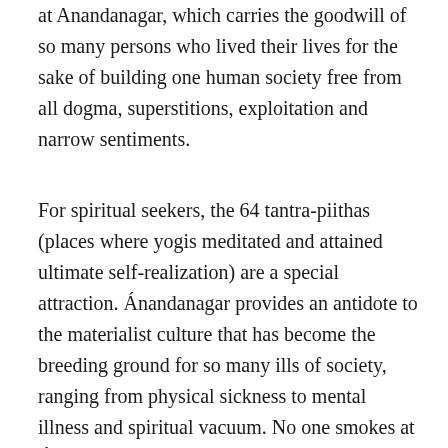at Anandanagar, which carries the goodwill of so many persons who lived their lives for the sake of building one human society free from all dogma, superstitions, exploitation and narrow sentiments.
For spiritual seekers, the 64 tantra-piithas (places where yogis meditated and attained ultimate self-realization) are a special attraction. Ánandanagar provides an antidote to the materialist culture that has become the breeding ground for so many ills of society, ranging from physical sickness to mental illness and spiritual vacuum. No one smokes at Ánandanagar; pure sattvika foods are served there; everyone practices yoga and meditation daily; and all live in harmony with nature. The morning chirping of birds wakes everyone as early as 4am and the morning siren alerts everyone at 4:45am to gather for a half-hour meditation called Paincajanya, which starts at 5am sharp. The extreme temperatures at Ánandanagar can be challenging, but the